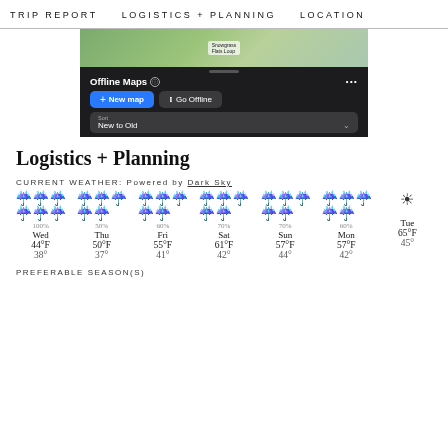TRIP REPORT   LOGISTICS + PLANNING   LOCATION
[Figure (screenshot): Mobile app screenshot showing Offline Maps interface with a map preview, New map and Go Offline buttons, and Sort: New to Old option]
Logistics + Planning
CURRENT WEATHER: Powered by Dark Sky
[Figure (infographic): 7-day weather forecast showing rain icons and sun icon with precipitation percentages and temperatures for Wed through Tue: Wed 100% 44°F 38°, Thu 50% 50°F 37°, Fri 60% 55°F 41°, Sat 70% 61°F 42°, Sun 70% 57°F 44°, Mon 60% 57°F 42°, Tue 65°F 45°]
PREFERABLE SEASON(S)